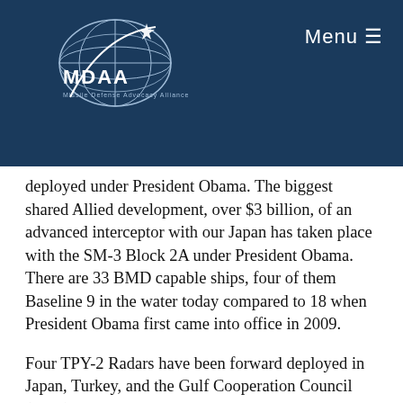[Figure (logo): MDAA - Missile Defense Advocacy Alliance logo with globe/arc graphic on dark blue background header]
Menu ☰
deployed under President Obama. The biggest shared Allied development, over $3 billion, of an advanced interceptor with our Japan has taken place with the SM-3 Block 2A under President Obama. There are 33 BMD capable ships, four of them Baseline 9 in the water today compared to 18 when President Obama first came into office in 2009.
Four TPY-2 Radars have been forward deployed in Japan, Turkey, and the Gulf Cooperation Council (GCC), to enhance our Homeland and regional missile defense systems. There are 37 Ground Based Interceptors (GBIs) deployed today for United States Homeland Defense with funding to increase up to 44 by the end of this year. Modernization and testing to increase the reliability of the GBIs and the second-generation interceptors for the GBIs have taken place with an upcoming intercept test to prove